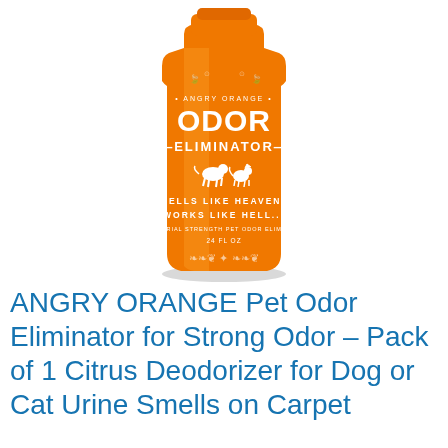[Figure (photo): Orange bottle of ANGRY ORANGE Odor Eliminator with white text reading 'ANGRY ORANGE', 'ODOR ELIMINATOR', 'SMELLS LIKE HEAVEN WORKS LIKE HELL', 'INDUSTRIAL STRENGTH PET ODOR ELIMINATOR', '24 FL OZ'. Bottle has illustrations of citrus, leaves, dogs, and flame-like designs on it.]
ANGRY ORANGE Pet Odor Eliminator for Strong Odor – Pack of 1 Citrus Deodorizer for Dog or Cat Urine Smells on Carpet